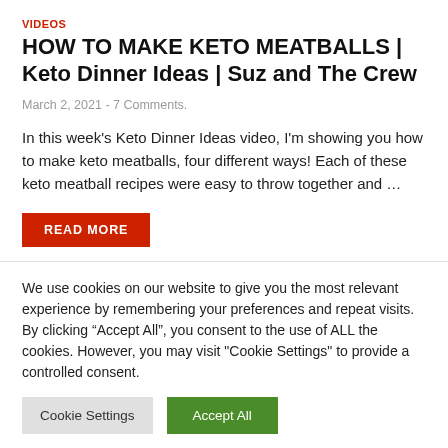VIDEOS
HOW TO MAKE KETO MEATBALLS | Keto Dinner Ideas | Suz and The Crew
March 2, 2021  -  7 Comments.
In this week’s Keto Dinner Ideas video, I’m showing you how to make keto meatballs, four different ways! Each of these keto meatball recipes were easy to throw together and …
READ MORE
We use cookies on our website to give you the most relevant experience by remembering your preferences and repeat visits. By clicking “Accept All”, you consent to the use of ALL the cookies. However, you may visit "Cookie Settings" to provide a controlled consent.
Cookie Settings
Accept All